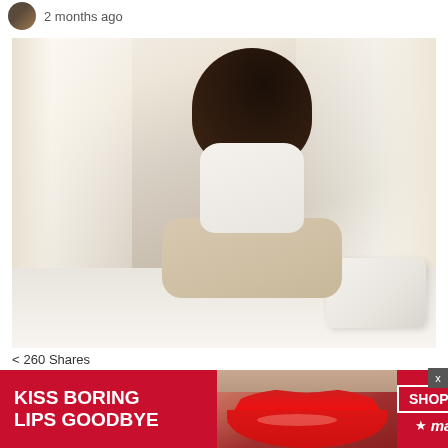2 months ago
[Figure (photo): Young woman with long dark hair sitting on a bed with white sheets and pillows, wearing a white tank top, in a bright room with windows]
260 Shares
Some Of The Reasons You May Want To Dele...
[Figure (photo): Advertisement banner: KISS BORING LIPS GOODBYE - Macy's ad with close-up of woman's face with red lips. Shows SHOP NOW button and Macy's star logo.]